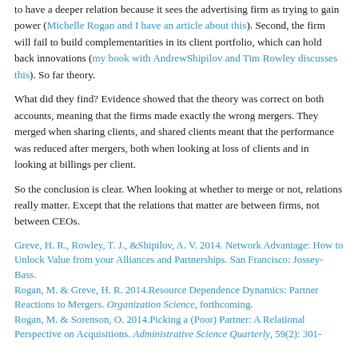to have a deeper relation because it sees the advertising firm as trying to gain power (Michelle Rogan and I have an article about this). Second, the firm will fail to build complementarities in its client portfolio, which can hold back innovations (my book with AndrewShipilov and Tim Rowley discusses this). So far theory.
What did they find? Evidence showed that the theory was correct on both accounts, meaning that the firms made exactly the wrong mergers. They merged when sharing clients, and shared clients meant that the performance was reduced after mergers, both when looking at loss of clients and in looking at billings per client.
So the conclusion is clear. When looking at whether to merge or not, relations really matter. Except that the relations that matter are between firms, not between CEOs.
Greve, H. R., Rowley, T. J., &Shipilov, A. V. 2014. Network Advantage: How to Unlock Value from your Alliances and Partnerships. San Francisco: Jossey-Bass.
Rogan, M. & Greve, H. R. 2014.Resource Dependence Dynamics: Partner Reactions to Mergers. Organization Science, forthcoming.
Rogan, M. & Sorenson, O. 2014.Picking a (Poor) Partner: A Relational Perspective on Acquisitions. Administrative Science Quarterly, 59(2): 301-